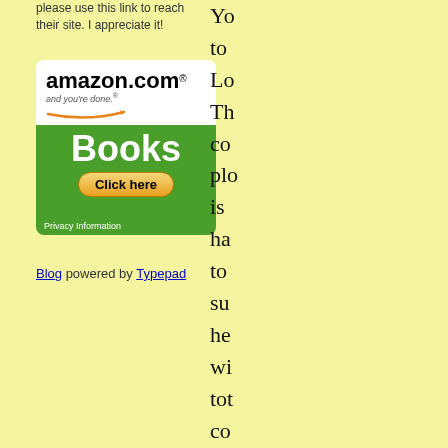please use this link to reach their site. I appreciate it!
[Figure (illustration): Amazon.com Books advertisement banner with green background, 'Books' text, and 'Click here' button with Privacy Information text at bottom]
Blog powered by Typepad
Yo to Lo Th co plo is ha to su he wi tot co yo – or co me fo th ma Ar